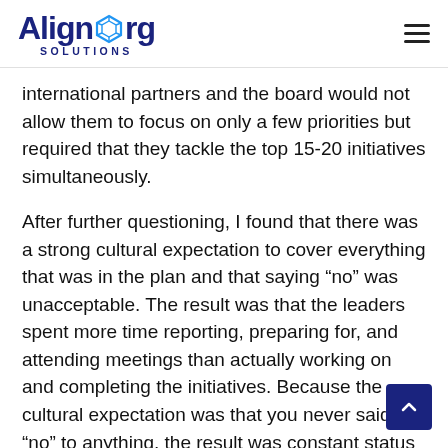AlignOrg Solutions
international partners and the board would not allow them to focus on only a few priorities but required that they tackle the top 15-20 initiatives simultaneously.
After further questioning, I found that there was a strong cultural expectation to cover everything that was in the plan and that saying “no” was unacceptable. The result was that the leaders spent more time reporting, preparing for, and attending meetings than actually working on and completing the initiatives. Because the cultural expectation was that you never said “no” to anything, the result was constant status meeting preparation and never ending initiative